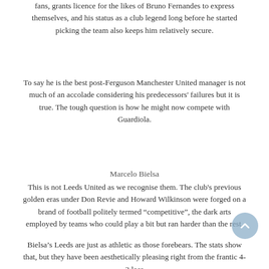fans, grants licence for the likes of Bruno Fernandes to express themselves, and his status as a club legend long before he started picking the team also keeps him relatively secure.
To say he is the best post-Ferguson Manchester United manager is not much of an accolade considering his predecessors' failures but it is true. The tough question is how he might now compete with Guardiola.
Marcelo Bielsa
This is not Leeds United as we recognise them. The club's previous golden eras under Don Revie and Howard Wilkinson were forged on a brand of football politely termed “competitive”, the dark arts employed by teams who could play a bit but ran harder than the rest.
Bielsa’s Leeds are just as athletic as those forebears. The stats show that, but they have been aesthetically pleasing right from the frantic 4-3 loss